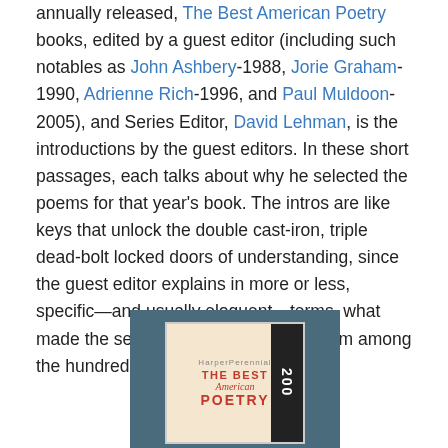annually released, The Best American Poetry books, edited by a guest editor (including such notables as John Ashbery-1988, Jorie Graham-1990, Adrienne Rich-1996, and Paul Muldoon-2005), and Series Editor, David Lehman, is the introductions by the guest editors. In these short passages, each talks about why he selected the poems for that year's book. The intros are like keys that unlock the double cast-iron, triple dead-bolt locked doors of understanding, since the guest editor explains in more or less, specific—and usually eloquent—terms, what made the selected poems stand out from among the hundreds considered.
[Figure (photo): Book cover of The Best American Poetry (year beginning with 200-) displayed against a dark teal/slate background. The cover has a beige/cream background with red text reading THE BEST American POETRY and a dark sidebar with year numbers.]